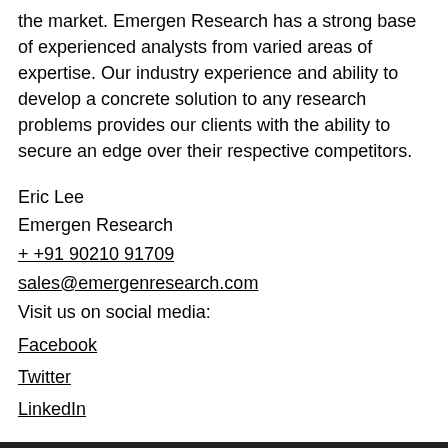the market. Emergen Research has a strong base of experienced analysts from varied areas of expertise. Our industry experience and ability to develop a concrete solution to any research problems provides our clients with the ability to secure an edge over their respective competitors.
Eric Lee
Emergen Research
+ +91 90210 91709
sales@emergenresearch.com
Visit us on social media:
Facebook
Twitter
LinkedIn